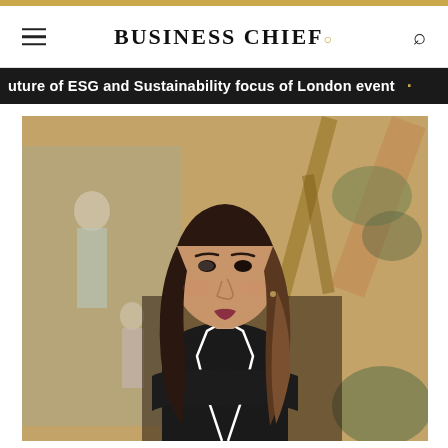BUSINESS CHIEF.
uture of ESG and Sustainability focus of London event
[Figure (photo): Portrait photo of a young woman with dark hair wearing a black blazer with white trim, posed in front of a decorative Asian-style painted mural/tapestry depicting figures in a landscape.]